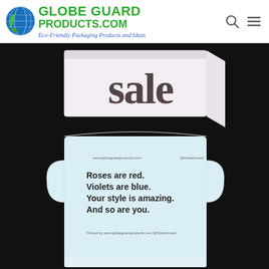Globe Guard Products.com — Eco-Friendly Packaging Products and Ideas
[Figure (photo): Photo of an open white mailer box on a dark background. The top portion shows the closed box with 'sale' text printed on its exterior. The bottom portion shows the inside of the open box lid printed with light blue interior and text reading: 'Roses are red. Violets are blue. Your style is amazing. And so are you.' along with small website/social media URLs.]